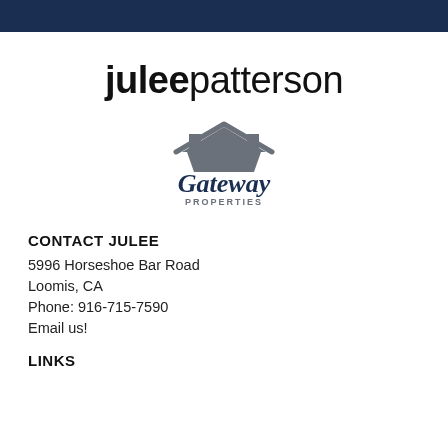juleepattterson
[Figure (logo): Gateway Properties logo with a house/roof icon above the text 'Gateway PROPERTIES' in navy blue and gray]
CONTACT JULEE
5996 Horseshoe Bar Road
Loomis, CA
Phone: 916-715-7590
Email us!
LINKS